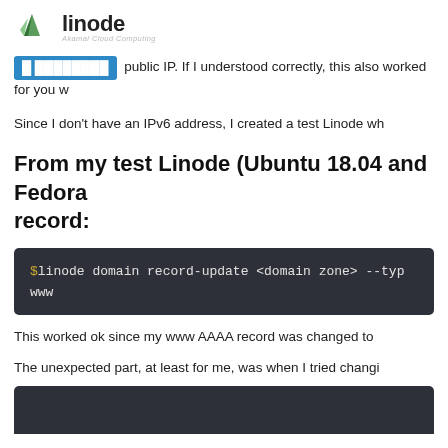linode | Akamai Cloud Computing
public IP. If I understood correctly, this also worked for you w
Since I don't have an IPv6 address, I created a test Linode wh
From my test Linode (Ubuntu 18.04 and Fedora record:
[Figure (screenshot): Code block showing: $linode domain record-update <domain zone> --typ www]
This worked ok since my www AAAA record was changed to
The unexpected part, at least for me, was when I tried changi
[Figure (screenshot): Partial code block visible at the bottom of the page]